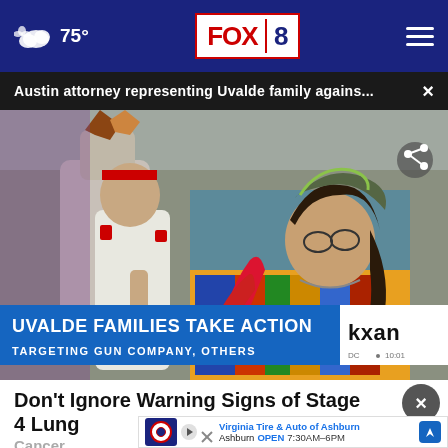75° FOX 8
Austin attorney representing Uvalde family agains... ×
[Figure (photo): Two women in Native American ceremonial dress and headdresses at an outdoor event. Lower-third graphic reads: UVALDE FAMILIES TAKE ACTION / TARGETING GUN COMPANY, OTHERS. KXAN logo with 10:01 timestamp.]
Don't Ignore Warning Signs of Stage 4 Lung Cancer
Virginia Tire & Auto of Ashburn  Ashburn OPEN 7:30AM–6PM